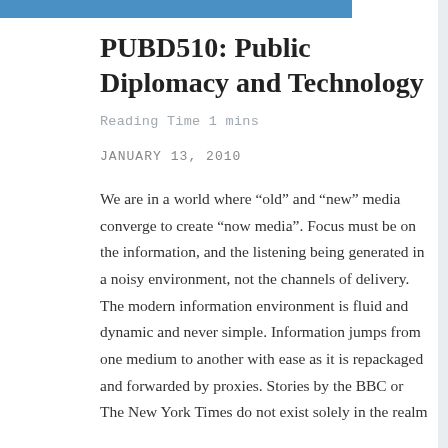PUBD510: Public Diplomacy and Technology
Reading Time 1 mins
JANUARY 13, 2010
We are in a world where “old” and “new” media converge to create “now media”. Focus must be on the information, and the listening being generated in a noisy environment, not the channels of delivery. The modern information environment is fluid and dynamic and never simple. Information jumps from one medium to another with ease as it is repackaged and forwarded by proxies. Stories by the BBC or The New York Times do not exist solely in the realm